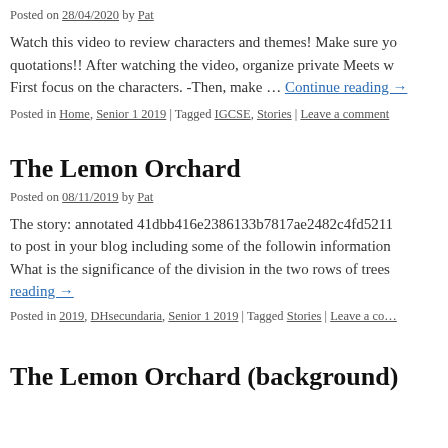Posted on 28/04/2020 by Pat
Watch this video to review characters and themes! Make sure yo… quotations!! After watching the video, organize private Meets w… First focus on the characters. -Then, make … Continue reading →
Posted in Home, Senior 1 2019 | Tagged IGCSE, Stories | Leave a comment
The Lemon Orchard
Posted on 08/11/2019 by Pat
The story: annotated 41dbb416e2386133b7817ae2482c4fd5211… to post in your blog including some of the followin information… What is the significance of the division in the two rows of trees … Continue reading →
Posted in 2019, DHsecundaria, Senior 1 2019 | Tagged Stories | Leave a co…
The Lemon Orchard (background)